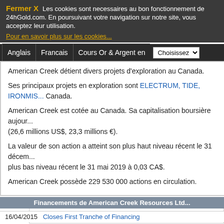Fermer X  Les cookies sont necessaires au bon fonctionnement de 24hGold.com. En poursuivant votre navigation sur notre site, vous acceptez leur utilisation.
Pour en savoir plus sur les cookies...
Anglais  Francais  Cours Or & Argent en  Choisissez
American Creek détient divers projets d'exploration au Canada.
Ses principaux projets en exploration sont ELECTRUM, TIDE, IRONMIS... Canada.
American Creek est cotée au Canada. Sa capitalisation boursière aujourd... (26,6 millions US$, 23,3 millions €).
La valeur de son action a atteint son plus haut niveau récent le 31 décem... plus bas niveau récent le 31 mai 2019 à 0,03 CA$.
American Creek possède 229 530 000 actions en circulation.
Votre avis nous interesse, merci de laisser un commentaire ou de note
Evaluer :  ★ ★ ★ ★ ★   Note moyenne :0 (0 vote)   Voir
Financements de American Creek Resources Ltd
16/04/2015  Closes First Tranche of Financing